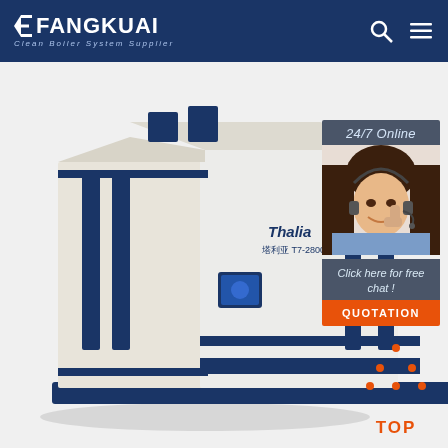FANGKUAI Clean Boiler System Supplier
[Figure (photo): Large industrial condensing gas boiler unit - Thalia T7-2800, white and navy blue casing, shown in 3D perspective view on white/light gray background]
24/7 Online
[Figure (photo): Customer service representative woman with headset, smiling, wearing blue shirt]
Click here for free chat !
QUOTATION
[Figure (illustration): Orange dotted triangle/mountain icon above the word TOP in orange text - back to top button]